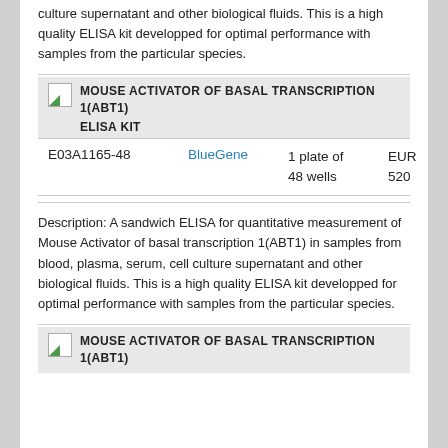culture supernatant and other biological fluids. This is a high quality ELISA kit developped for optimal performance with samples from the particular species.
[Figure (photo): Product image thumbnail for Mouse Activator of Basal Transcription 1 (ABT1) ELISA Kit]
MOUSE ACTIVATOR OF BASAL TRANSCRIPTION 1(ABT1) ELISA KIT
| Product ID | Supplier | Quantity | Price |
| --- | --- | --- | --- |
| E03A1165-48 | BlueGene | 1 plate of 48 wells | EUR 520 |
Description: A sandwich ELISA for quantitative measurement of Mouse Activator of basal transcription 1(ABT1) in samples from blood, plasma, serum, cell culture supernatant and other biological fluids. This is a high quality ELISA kit developped for optimal performance with samples from the particular species.
[Figure (photo): Product image thumbnail for Mouse Activator of Basal Transcription 1 (ABT1) ELISA Kit - second listing]
MOUSE ACTIVATOR OF BASAL TRANSCRIPTION 1(ABT1)